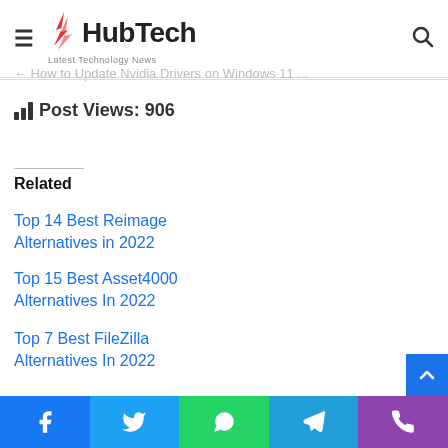HubTech - Latest Technology News
Post Views: 906
Related
Top 14 Best Reimage Alternatives in 2022
Top 15 Best Asset4000 Alternatives In 2022
Top 7 Best FileZilla Alternatives In 2022
Facebook | Twitter | WhatsApp | Telegram | Phone